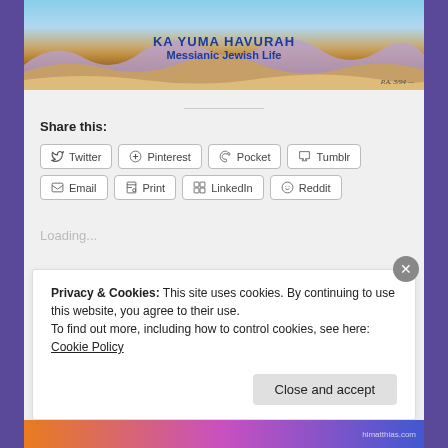[Figure (illustration): Ka Yuma Havurah banner with desert landscape, mountains under blue sky, and bold blue text reading KA YUMA HAVURAH / Messianic Jewish Life]
Share this:
Twitter | Pinterest | Pocket | Tumblr | Email | Print | LinkedIn | Reddit
Loading...
Privacy & Cookies: This site uses cookies. By continuing to use this website, you agree to their use.
To find out more, including how to control cookies, see here: Cookie Policy
Close and accept